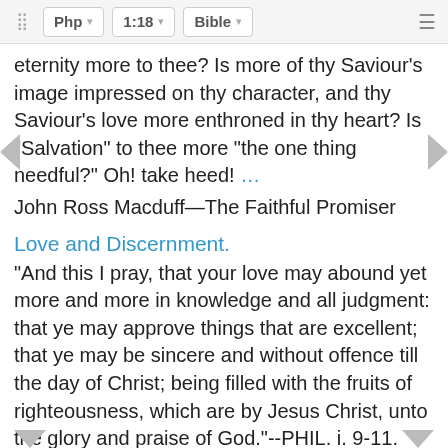Php  1:18  Bible
eternity more to thee? Is more of thy Saviour's image impressed on thy character, and thy Saviour's love more enthroned in thy heart? Is "Salvation" to thee more "the one thing needful?" Oh! take heed! …
John Ross Macduff—The Faithful Promiser
Love and Discernment.
"And this I pray, that your love may abound yet more and more in knowledge and all judgment: that ye may approve things that are excellent; that ye may be sincere and without offence till the day of Christ; being filled with the fruits of righteousness, which are by Jesus Christ, unto the glory and praise of God."--PHIL. i. 9-11. One of the most beautiful elements in the Pauline Epistles is the intimate relation which evidently existed between the